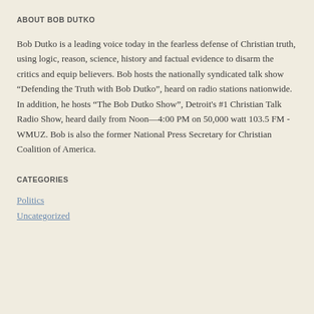ABOUT BOB DUTKO
Bob Dutko is a leading voice today in the fearless defense of Christian truth, using logic, reason, science, history and factual evidence to disarm the critics and equip believers. Bob hosts the nationally syndicated talk show “Defending the Truth with Bob Dutko”, heard on radio stations nationwide. In addition, he hosts “The Bob Dutko Show”, Detroit's #1 Christian Talk Radio Show, heard daily from Noon—4:00 PM on 50,000 watt 103.5 FM - WMUZ. Bob is also the former National Press Secretary for Christian Coalition of America.
CATEGORIES
Politics
Uncategorized